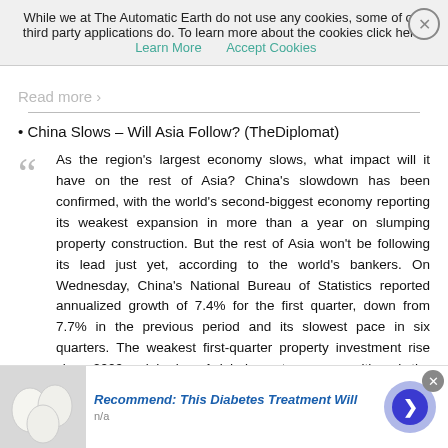While we at The Automatic Earth do not use any cookies, some of our third party applications do. To learn more about the cookies click here: Learn More   Accept Cookies
China Slows – Will Asia Follow? (TheDiplomat)
As the region's largest economy slows, what impact will it have on the rest of Asia? China's slowdown has been confirmed, with the world's second-biggest economy reporting its weakest expansion in more than a year on slumping property construction. But the rest of Asia won't be following its lead just yet, according to the world's bankers. On Wednesday, China's National Bureau of Statistics reported annualized growth of 7.4% for the first quarter, down from 7.7% in the previous period and its slowest pace in six quarters. The weakest first-quarter property investment rise since 2009 weighed on Asia's largest economy, although the rise was still above market forecasts of a 7.3% expansion.
[Figure (other): Advertisement banner: image of white eggs, text 'Recommend: This Diabetes Treatment Will', subtext 'n/a', with arrow button]